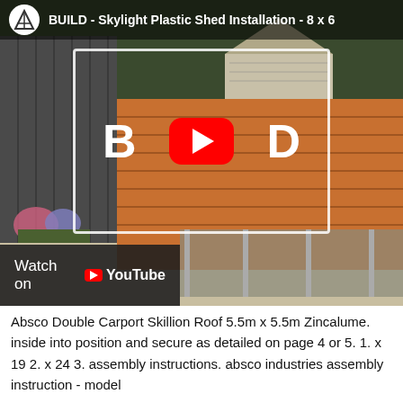[Figure (screenshot): YouTube video thumbnail showing BUILD - Skylight Plastic Shed Installation - 8 x 6, with a play button overlay showing B and D letters, a white rectangle border, and a 'Watch on YouTube' bar at the bottom left. The image shows an orange/brown plastic shed in a backyard.]
Absco Double Carport Skillion Roof 5.5m x 5.5m Zincalume. inside into position and secure as detailed on page 4 or 5. 1. x 19 2. x 24 3. assembly instructions. absco industries assembly instruction - model